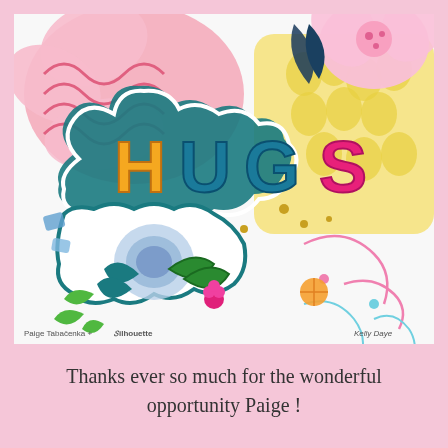[Figure (photo): A colorful craft/scrapbooking scene featuring large letters spelling 'HUGS' in orange, teal, and pink/magenta, surrounded by decorative paper flowers, leaves, and botanical cutouts in pink, yellow, blue, and green on a white background with pink line doodles. Watermark text reads 'Paige Tabačenka + Silhouette' on the left and 'Kelly Daye' on the right.]
Thanks ever so much for the wonderful opportunity Paige !